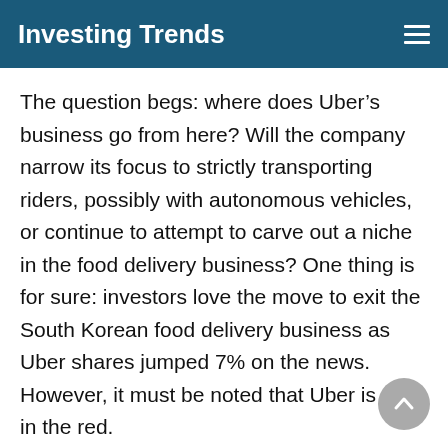Investing Trends
The question begs: where does Uber’s business go from here? Will the company narrow its focus to strictly transporting riders, possibly with autonomous vehicles, or continue to attempt to carve out a niche in the food delivery business? One thing is for sure: investors love the move to exit the South Korean food delivery business as Uber shares jumped 7% on the news. However, it must be noted that Uber is still in the red.
Uber leaders promised to provide investors with an adjusted EBITDA profit by the beginning of 2022 at the latest. This goal is still attainable yet the